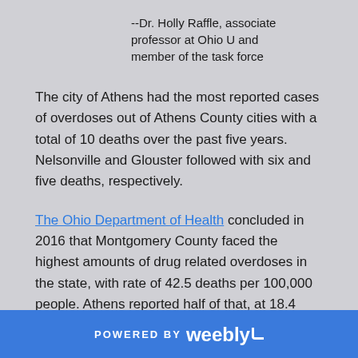--Dr. Holly Raffle, associate professor at Ohio U and member of the task force
The city of Athens had the most reported cases of overdoses out of Athens County cities with a total of 10 deaths over the past five years. Nelsonville and Glouster followed with six and five deaths, respectively.
The Ohio Department of Health concluded in 2016 that Montgomery County faced the highest amounts of drug related overdoses in the state, with rate of 42.5 deaths per 100,000 people. Athens reported half of that, at 18.4 persons.
POWERED BY weebly